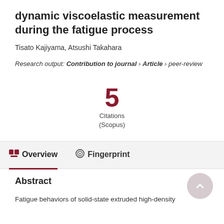dynamic viscoelastic measurement during the fatigue process
Tisato Kajiyama, Atsushi Takahara
Research output: Contribution to journal › Article › peer-review
5 Citations (Scopus)
Overview   Fingerprint
Abstract
Fatigue behaviors of solid-state extruded high-density